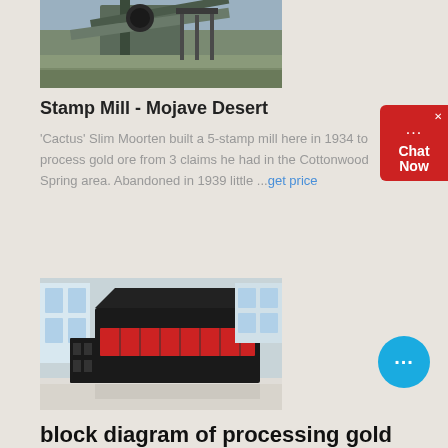[Figure (photo): Stamp mill machinery in the Mojave Desert, industrial equipment and conveyor structures visible outdoors]
Stamp Mill - Mojave Desert
'Cactus' Slim Moorten built a 5-stamp mill here in 1934 to process gold ore from 3 claims he had in the Cottonwood Spring area. Abandoned in 1939 little ...get price
[Figure (photo): Large industrial screening or vibrating machine in a factory/warehouse setting with high ceilings and windows]
block diagram of processing gold with jaw craser